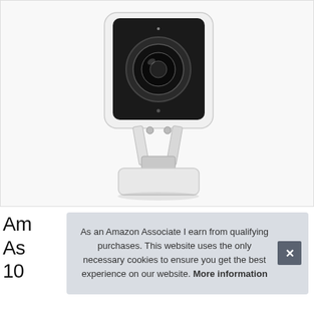[Figure (photo): White smart home security camera with adjustable stand/mount on white background, square body with large circular lens]
Am
As
10
As an Amazon Associate I earn from qualifying purchases. This website uses the only necessary cookies to ensure you get the best experience on our website. More information